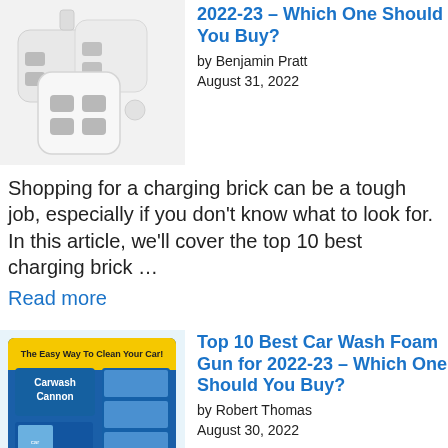[Figure (photo): White USB charging bricks stacked together]
2022-23 – Which One Should You Buy?
by Benjamin Pratt
August 31, 2022
Shopping for a charging brick can be a tough job, especially if you don't know what to look for. In this article, we'll cover the top 10 best charging brick …
Read more
[Figure (photo): Carwash Cannon product box showing car wash foam gun - The Easy Way To Clean Your Car, Easy As...]
Top 10 Best Car Wash Foam Gun for 2022-23 – Which One Should You Buy?
by Robert Thomas
August 30, 2022